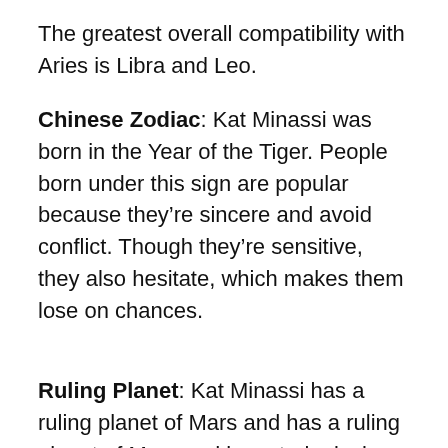The greatest overall compatibility with Aries is Libra and Leo.
Chinese Zodiac: Kat Minassi was born in the Year of the Tiger. People born under this sign are popular because they're sincere and avoid conflict. Though they're sensitive, they also hesitate, which makes them lose on chances.
Ruling Planet: Kat Minassi has a ruling planet of Mars and has a ruling planet of Mars and by astrological associations Tuesday is ruled by Mars. This planet